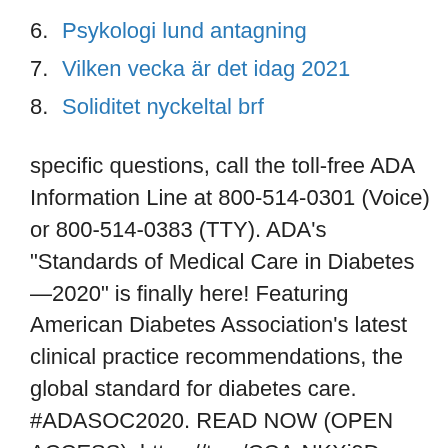6. Psykologi lund antagning
7. Vilken vecka är det idag 2021
8. Soliditet nyckeltal brf
specific questions, call the toll-free ADA Information Line at 800-514-0301 (Voice) or 800-514-0383 (TTY). ADA's "Standards of Medical Care in Diabetes—2020" is finally here! Featuring American Diabetes Association's latest clinical practice recommendations, the global standard for diabetes care. #ADASOC2020. READ NOW (OPEN ACCESS): https://t.co/CCArNKXi9D pic.twitter.com/Yj9gExpVdG — ADA Journals (@ADA_Journals) December 20, 2019 ADA Releases 2021 Standards of Medical Care in